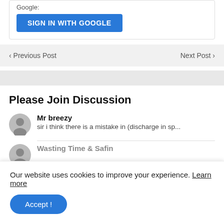[Figure (screenshot): Sign in with Google button on a card]
‹ Previous Post
Next Post ›
Please Join Discussion
Mr breezy
sir i think there is a mistake in (discharge in sp...
Our website uses cookies to improve your experience. Learn more
Accept !